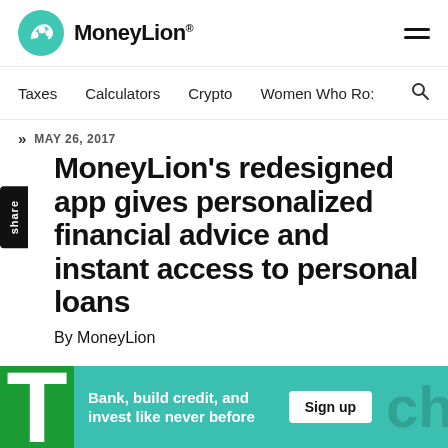[Figure (logo): MoneyLion logo with teal circle icon and wordmark]
Taxes   Calculators   Crypto   Women Who Ro:
MAY 26, 2017
MoneyLion’s redesigned app gives personalized financial advice and instant access to personal loans
By MoneyLion
[Figure (screenshot): Bottom strip showing TechCrunch logo partially visible with teal ad banner: Bank, build credit, and invest like never before — Sign up]